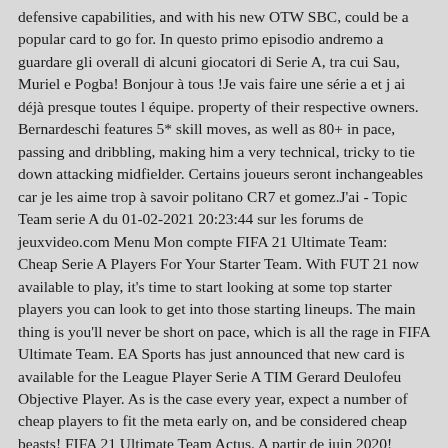defensive capabilities, and with his new OTW SBC, could be a popular card to go for. In questo primo episodio andremo a guardare gli overall di alcuni giocatori di Serie A, tra cui Sau, Muriel e Pogba! Bonjour à tous !Je vais faire une série a et j ai déjà presque toutes l équipe. property of their respective owners. Bernardeschi features 5* skill moves, as well as 80+ in pace, passing and dribbling, making him a very technical, tricky to tie down attacking midfielder. Certains joueurs seront inchangeables car je les aime trop à savoir politano CR7 et gomez.J'ai - Topic Team serie A du 01-02-2021 20:23:44 sur les forums de jeuxvideo.com Menu Mon compte FIFA 21 Ultimate Team: Cheap Serie A Players For Your Starter Team. With FUT 21 now available to play, it's time to start looking at some top starter players you can look to get into those starting lineups. The main thing is you'll never be short on pace, which is all the rage in FIFA Ultimate Team. EA Sports has just announced that new card is available for the League Player Serie A TIM Gerard Deulofeu Objective Player. As is the case every year, expect a number of cheap players to fit the meta early on, and be considered cheap beasts! FIFA 21 Ultimate Team Actus. A partir de juin 2020! Create and share your own FIFA 21 Ultimate Team Squad. Overpowered serie a team. information, see our Vice možnosti vlastní úprav. When it comes to CAMs in the Serie A this year for cheap, there